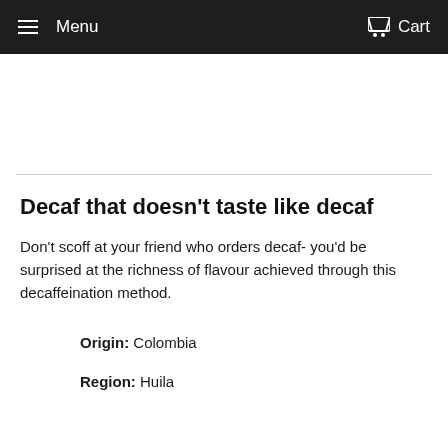Menu  Cart
Decaf that doesn't taste like decaf
Don't scoff at your friend who orders decaf- you'd be surprised at the richness of flavour achieved through this decaffeination method.
Origin: Colombia
Region: Huila